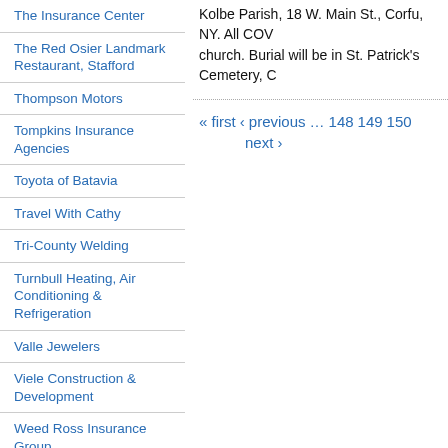The Insurance Center
The Red Osier Landmark Restaurant, Stafford
Thompson Motors
Tompkins Insurance Agencies
Toyota of Batavia
Travel With Cathy
Tri-County Welding
Turnbull Heating, Air Conditioning & Refrigeration
Valle Jewelers
Viele Construction & Development
Weed Ross Insurance Group
West Main Wine & Spirits
Western Regional Off Track
William Kent, Inc.
YMCA
Yngodess Shop
Kolbe Parish, 18 W. Main St., Corfu, NY. All COV... church. Burial will be in St. Patrick's Cemetery, C...
« first ‹ previous … 148 149 150 next ›